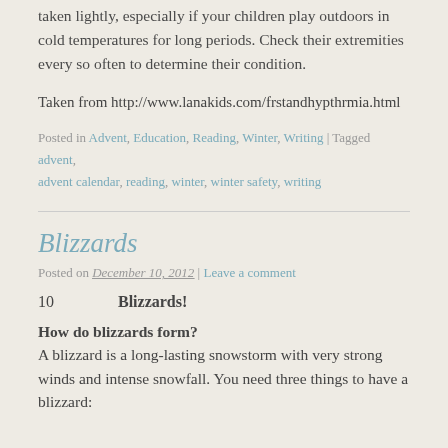taken lightly, especially if your children play outdoors in cold temperatures for long periods. Check their extremities every so often to determine their condition.
Taken from http://www.lanakids.com/frstandhypthrmia.html
Posted in Advent, Education, Reading, Winter, Writing | Tagged advent, advent calendar, reading, winter, winter safety, writing
Blizzards
Posted on December 10, 2012 | Leave a comment
10    Blizzards!
How do blizzards form?
A blizzard is a long-lasting snowstorm with very strong winds and intense snowfall. You need three things to have a blizzard: